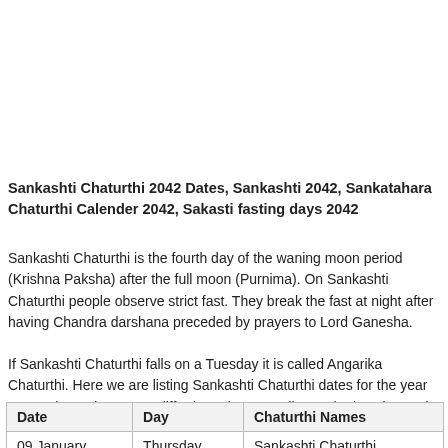Sankashti Chaturthi 2042 Dates, Sankashti 2042, Sankatahara Chaturthi Calender 2042, Sakasti fasting days 2042
Sankashti Chaturthi is the fourth day of the waning moon period (Krishna Paksha) after the full moon (Purnima). On Sankashti Chaturthi people observe strict fast. They break the fast at night after having Chandra darshana preceded by prayers to Lord Ganesha.
If Sankashti Chaturthi falls on a Tuesday it is called Angarika Chaturthi. Here we are listing Sankashti Chaturthi dates for the year 2042. These dates may differ by a day according to the location and other things.
| Date | Day | Chaturthi Names |
| --- | --- | --- |
| 09 January | Thursday | Sankashti Chaturthi |